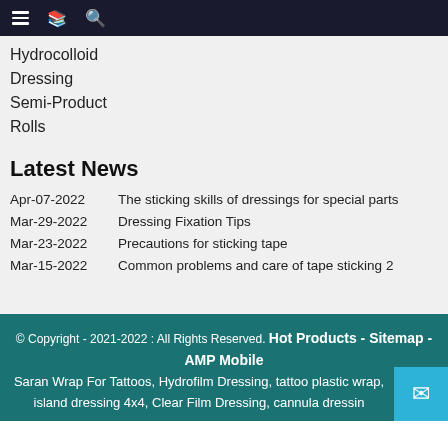≡ [book icon] [search icon]
Hydrocolloid
Dressing
Semi-Product
Rolls
Latest News
Apr-07-2022   The sticking skills of dressings for special parts
Mar-29-2022   Dressing Fixation Tips
Mar-23-2022   Precautions for sticking tape
Mar-15-2022   Common problems and care of tape sticking 2
© Copyright - 2021-2022 : All Rights Reserved. Hot Products - Sitemap - AMP Mobile
Saran Wrap For Tattoos, Hydrofilm Dressing, tattoo plastic wrap, island dressing 4x4, Clear Film Dressing, cannula dressin